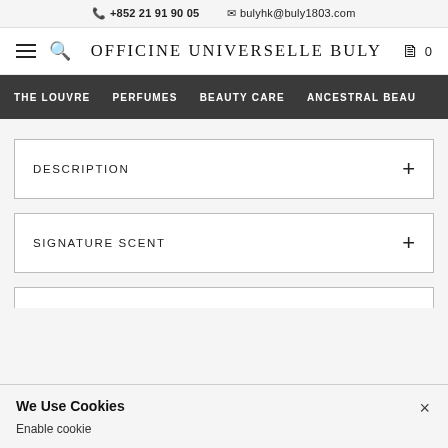📞 +852 21 91 90 05   ✉ bulyhk@buly1803.com
OFFICINE UNIVERSELLE BULY
THE LOUVRE   PERFUMES   BEAUTY CARE   ANCESTRAL BEAU
DESCRIPTION +
SIGNATURE SCENT +
We Use Cookies
Enable cookie